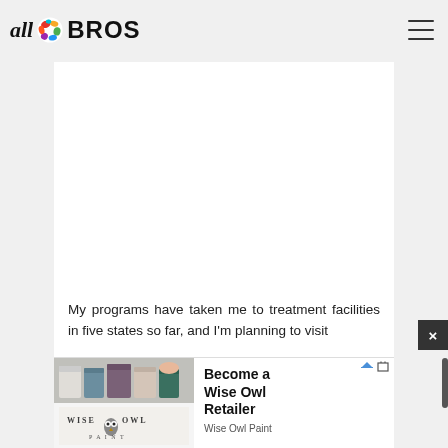all BROS
[Figure (screenshot): White content card area, mostly blank white space representing an article image or video placeholder]
My programs have taken me to treatment facilities in five states so far, and I'm planning to visit…
[Figure (photo): Advertisement banner: Wise Owl Paint — 'Become a Wise Owl Retailer' — shows paint cans image on left and Wise Owl Paint logo/text on right]